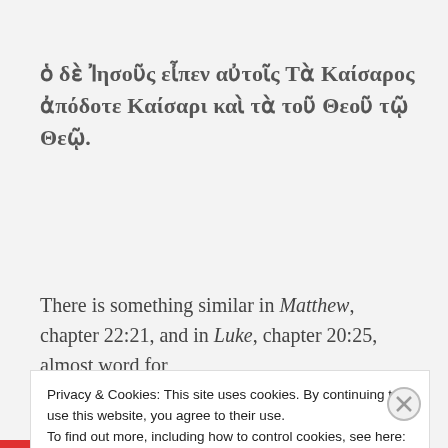ὁ δὲ Ἰησοῦς εἶπεν αὐτοῖς Τὰ Καίσαρος ἀπόδοτε Καίσαρι καὶ τὰ τοῦ Θεοῦ τῷ Θεῷ.
There is something similar in Matthew, chapter 22:21, and in Luke, chapter 20:25, almost word for
Privacy & Cookies: This site uses cookies. By continuing to use this website, you agree to their use.
To find out more, including how to control cookies, see here: Cookie Policy
Close and accept